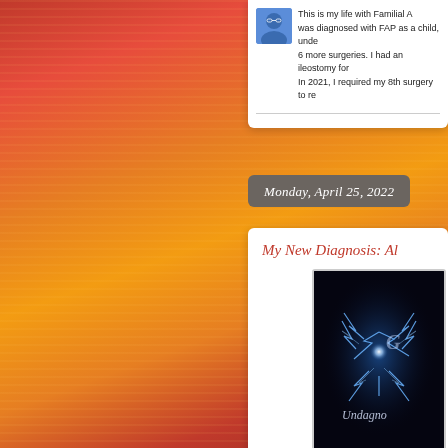[Figure (photo): Blurred sunset background with vivid red, orange and golden horizontal streaks filling the left half of the page]
This is my life with Familial A... was diagnosed with FAP as a child, unde... 6 more surgeries. I had an ileostomy for... In 2021, I required my 8th surgery to re...
Monday, April 25, 2022
My New Diagnosis: Al
[Figure (photo): Dark image with electric blue lightning bolts around a bright sphere, with text 'G' and 'Undagno...' in script font]